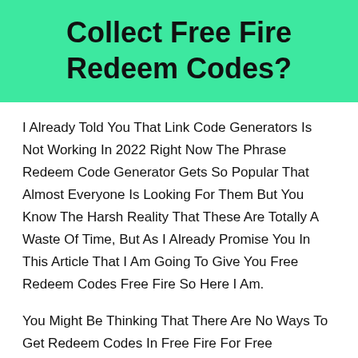Collect Free Fire Redeem Codes?
I Already Told You That Link Code Generators Is Not Working In 2022 Right Now The Phrase Redeem Code Generator Gets So Popular That Almost Everyone Is Looking For Them But You Know The Harsh Reality That These Are Totally A Waste Of Time, But As I Already Promise You In This Article That I Am Going To Give You Free Redeem Codes Free Fire So Here I Am.
You Might Be Thinking That There Are No Ways To Get Redeem Codes In Free Fire For Free Diamonds In Free Fire Without Paying Any Money From Your Pocket Right?